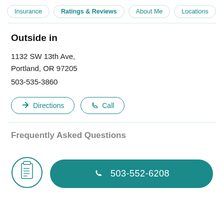Insurance | Ratings & Reviews | About Me | Locations
Outside in
1132 SW 13th Ave,
Portland, OR 97205
503-535-3860
Directions
Call
Frequently Asked Questions
503-552-6208